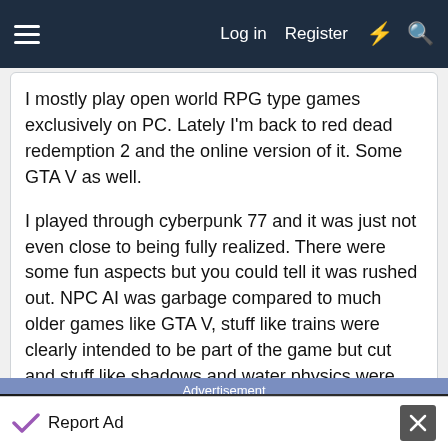Log in  Register
I mostly play open world RPG type games exclusively on PC. Lately I'm back to red dead redemption 2 and the online version of it. Some GTA V as well.
I played through cyberpunk 77 and it was just not even close to being fully realized. There were some fun aspects but you could tell it was rushed out. NPC AI was garbage compared to much older games like GTA V, stuff like trains were clearly intended to be part of the game but cut and stuff like shadows and water physics were just trash. Sad it had so much potential.
Advertisement
[Figure (screenshot): Dark advertisement image area]
Report Ad